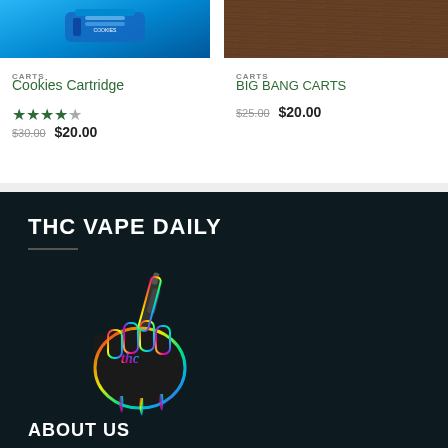[Figure (photo): Blue vape cartridge product image on cyan/blue background]
CARTS
Cookies Cartridge
★★★★☆ (rating 4.5 stars)
$30.00  $20.00
[Figure (photo): Wood grain textured surface product image]
CARTS
BIG BANG CARTS
$25.00  $20.00
THC VAPE DAILY
[Figure (logo): Holographic rainbow logo of a fist holding a vape pen, with colorful gradient outline on dark background]
ABOUT US